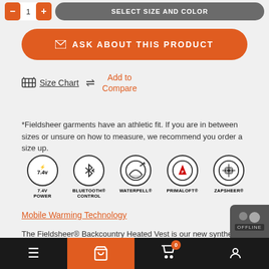[Figure (screenshot): Product page UI with quantity selector and SELECT SIZE AND COLOR button]
ASK ABOUT THIS PRODUCT
Size Chart  Add to Compare
*Fieldsheer garments have an athletic fit. If you are in between sizes or unsure on how to measure, we recommend you order a size up.
[Figure (infographic): Five product feature icons: 7.4V POWER, BLUETOOTH® CONTROL, WATERPELL®, PRIMALOFT®, ZAPSHEER®]
Mobile Warming Technology
The Fieldsheer® Backcountry Heated Vest is our new synthetic down puffer Heated Vest available in 2 color options and featuring a new low-profile 7.4-volt battery. With a Waterpell™ water-resistant nylon outer shell, and